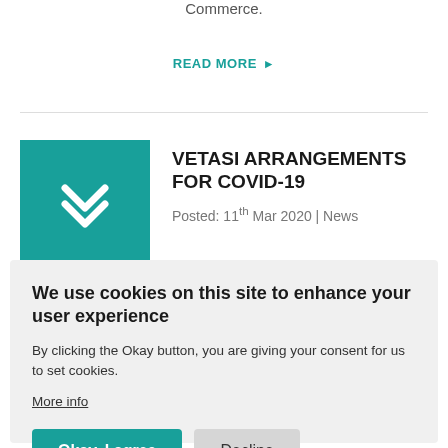Commerce.
READ MORE ▶
[Figure (logo): Teal square with a white angular bracket / chevron logo mark (Vetasi logo)]
VETASI ARRANGEMENTS FOR COVID-19
Posted: 11th Mar 2020 | News
We use cookies on this site to enhance your user experience
By clicking the Okay button, you are giving your consent for us to set cookies.
More info
Okay, I agree
Decline